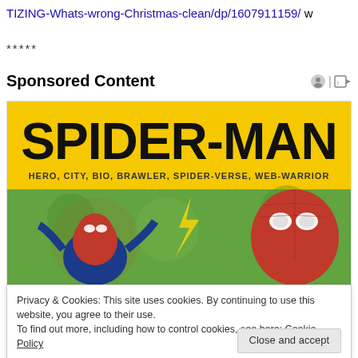TIZING-Whats-wrong-Christmas-clean/dp/1607911159/ w
*****
Sponsored Content
[Figure (photo): Spider-Man advertisement banner with yellow background showing SPIDER-MAN title text and subtitle HERO, CITY, BIO, BRAWLER, SPIDER-VERSE, WEB-WARRIOR with two Spider-Man characters illustration]
Privacy & Cookies: This site uses cookies. By continuing to use this website, you agree to their use.
To find out more, including how to control cookies, see here: Cookie Policy
Close and accept
game